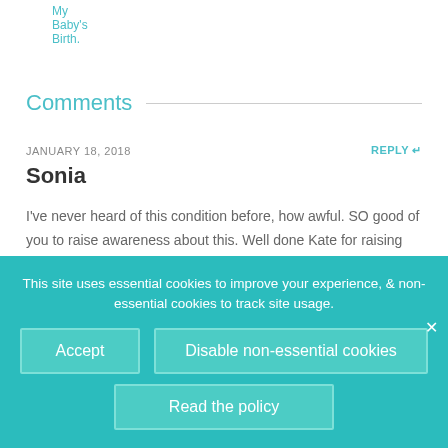My Baby's Birth.
Comments
JANUARY 18, 2018
REPLY ↩
Sonia
I've never heard of this condition before, how awful. SO good of you to raise awareness about this. Well done Kate for raising money and raising the bar by personally...
This site uses essential cookies to improve your experience, & non-essential cookies to track site usage.
Accept
Disable non-essential cookies
Read the policy